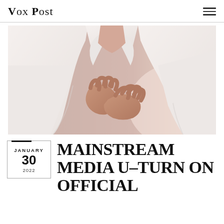Vox Post
[Figure (photo): Person in white shirt clutching chest with both hands, suggesting chest pain or heart discomfort, cropped at torso level, warm light background.]
MAINSTREAM MEDIA U-TURN ON OFFICIAL
JANUARY 30 2022